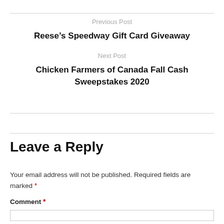Previous Post
Reese’s Speedway Gift Card Giveaway
Next Post
Chicken Farmers of Canada Fall Cash Sweepstakes 2020
Leave a Reply
Your email address will not be published. Required fields are marked *
Comment *